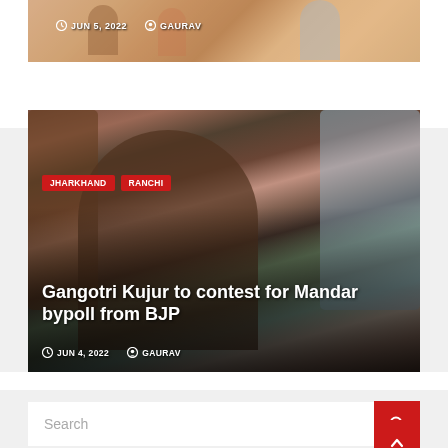[Figure (photo): Partial top image strip showing people at a political event, partially cropped]
JUN 5, 2022   GAURAV
[Figure (photo): News article image showing Gangotri Kujur and other people at a political gathering]
Gangotri Kujur to contest for Mandar bypoll from BJP
JUN 4, 2022   GAURAV
Search